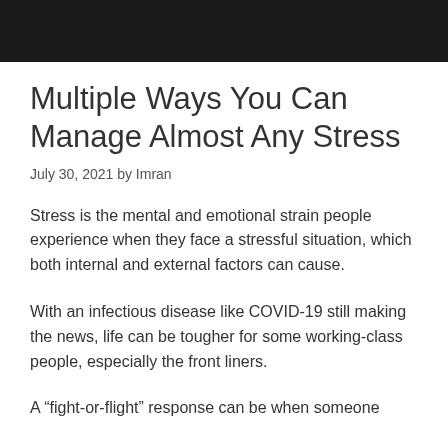[Figure (photo): Black banner/header image at the top of the page]
Multiple Ways You Can Manage Almost Any Stress
July 30, 2021 by Imran
Stress is the mental and emotional strain people experience when they face a stressful situation, which both internal and external factors can cause.
With an infectious disease like COVID-19 still making the news, life can be tougher for some working-class people, especially the front liners.
A “fight-or-flight” response can be when someone